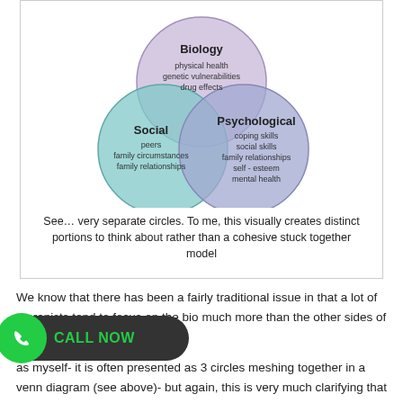[Figure (infographic): Venn diagram showing three overlapping circles labeled Biology (top, purple, containing: physical health, genetic vulnerabilities, drug effects), Social (bottom-left, teal, containing: peers, family circumstances, family relationships), and Psychological (bottom-right, blue-purple, containing: coping skills, social skills, family relationships, self-esteem, mental health).]
See… very separate circles. To me, this visually creates distinct portions to think about rather than a cohesive stuck together model
We know that there has been a fairly traditional issue in that a lot of therapists tend to focus on the bio much more than the other sides of the coin- as it were.
as myself- it is often presented as 3 circles meshing together in a venn diagram (see above)- but again, this is very much clarifying that the Bio, the Psycho and the Social are all separate things and